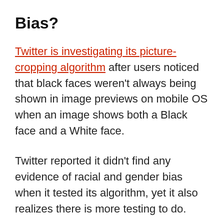Bias?
Twitter is investigating its picture-cropping algorithm after users noticed that black faces weren't always being shown in image previews on mobile OS when an image shows both a Black face and a White face.
Twitter reported it didn't find any evidence of racial and gender bias when it tested its algorithm, yet it also realizes there is more testing to do.
The social network's technology officer, Parag Agrawal, said the picture-cropping model was